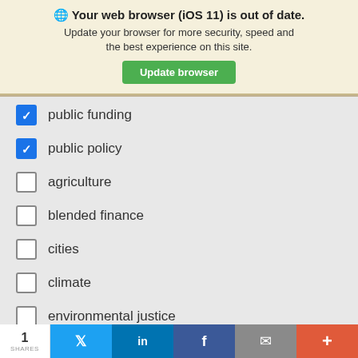🌐 Your web browser (iOS 11) is out of date. Update your browser for more security, speed and the best experience on this site. Update browser
✓ public funding
✓ public policy
agriculture
blended finance
cities
climate
environmental justice
fresh water
habitat
1 SHARES | Twitter | LinkedIn | Facebook | Email | More